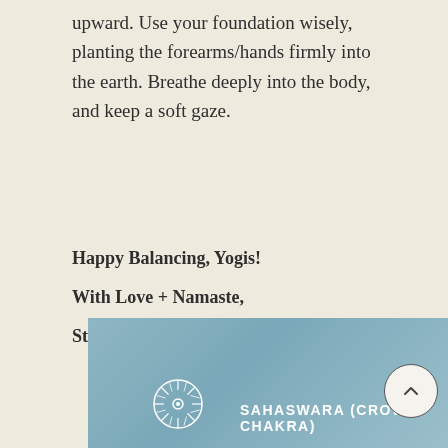upward. Use your foundation wisely, planting the forearms/hands firmly into the earth. Breathe deeply into the body, and keep a soft gaze.
Happy Balancing, Yogis!

With Love + Namaste,

Stacy
[Figure (illustration): Blue-grey banner with a white circular chakra/dharma wheel icon on the left and bold white uppercase text reading 'SAHASWARA (CROWN CHAKRA)' to its right.]